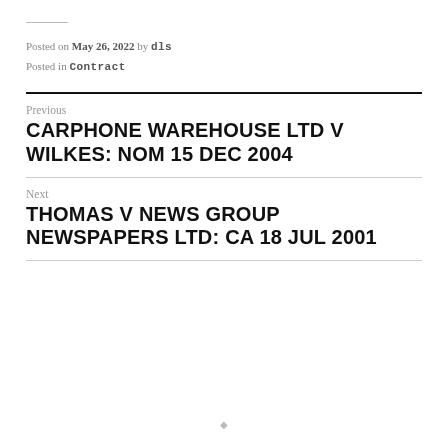Posted on May 26, 2022 by dls
Posted in Contract
Previous
CARPHONE WAREHOUSE LTD V WILKES: NOM 15 DEC 2004
Next
THOMAS V NEWS GROUP NEWSPAPERS LTD: CA 18 JUL 2001
♦